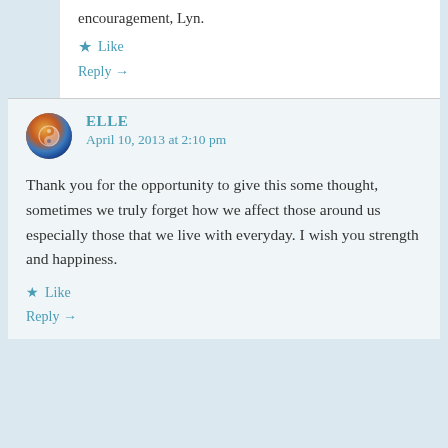encouragement, Lyn.
★ Like
Reply →
ELLE
April 10, 2013 at 2:10 pm
Thank you for the opportunity to give this some thought, sometimes we truly forget how we affect those around us especially those that we live with everyday. I wish you strength and happiness.
★ Like
Reply →